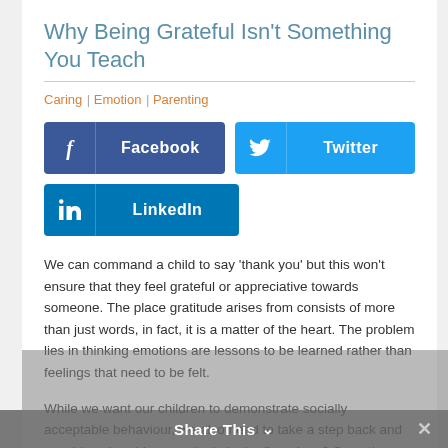Why Being Grateful Isn’t Something You Teach
Caring | Emotion | Parenting
[Figure (other): Social share buttons: Facebook (dark blue), Twitter (light blue), LinkedIn (medium blue)]
We can command a child to say ‘thank you’ but this won’t ensure that they feel grateful or appreciative towards someone.  The place gratitude arises from consists of more than just words, in fact, it is a matter of the heart. The problem lies in thinking emotions are lessons to be learned rather than feelings that need to be felt.
While we want our children to demonstrate socially acceptable behaviour, we also need to take a step back and consider what drives gratitude in the first place? Sometimes kids say ‘thank you’ spontaneously. At other times, we may tell them to say thank you without considering if they feel gratitude. Why is this important? Because we can set our kids up to give
Share This